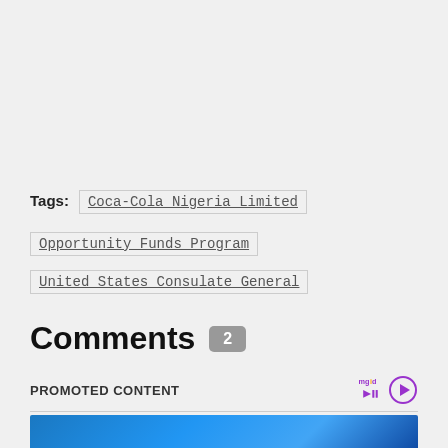Tags: Coca-Cola Nigeria Limited
Opportunity Funds Program
United States Consulate General
Comments 2
PROMOTED CONTENT
[Figure (photo): Blue gradient promotional image at the bottom of the page]